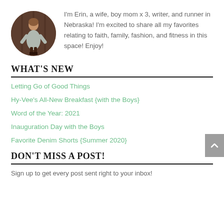[Figure (photo): Circular profile photo of a woman standing in front of a dark wooden background, wearing a grey dress and dark boots.]
I'm Erin, a wife, boy mom x 3, writer, and runner in Nebraska! I'm excited to share all my favorites relating to faith, family, fashion, and fitness in this space! Enjoy!
WHAT'S NEW
Letting Go of Good Things
Hy-Vee's All-New Breakfast {with the Boys}
Word of the Year: 2021
Inauguration Day with the Boys
Favorite Denim Shorts {Summer 2020}
DON'T MISS A POST!
Sign up to get every post sent right to your inbox!